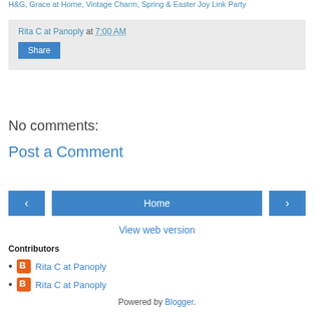H&G, Grace at Home, Vintage Charm, Spring & Easter Joy Link Party
Rita C at Panoply at 7:00 AM
Share
No comments:
Post a Comment
‹  Home  ›
View web version
Contributors
Rita C at Panoply
Rita C at Panoply
Powered by Blogger.